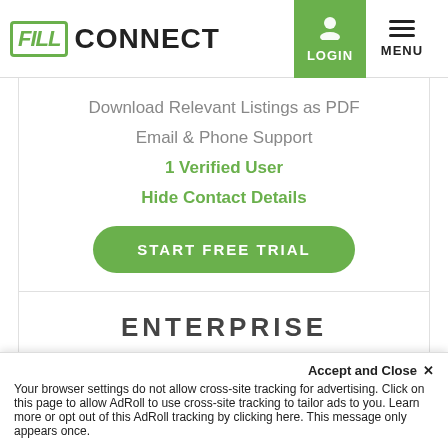FILL CONNECT — LOGIN — MENU
Download Relevant Listings as PDF
Email & Phone Support
1 Verified User
Hide Contact Details
START FREE TRIAL
ENTERPRISE
$97.00
Accept and Close ×
Your browser settings do not allow cross-site tracking for advertising. Click on this page to allow AdRoll to use cross-site tracking to tailor ads to you. Learn more or opt out of this AdRoll tracking by clicking here. This message only appears once.